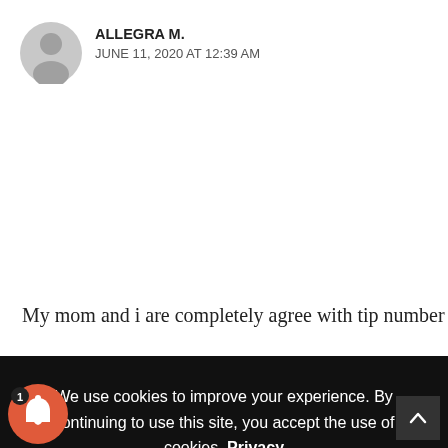[Figure (illustration): Grey circular avatar icon with silhouette of a person]
ALLEGRA M.
JUNE 11, 2020 AT 12:39 AM
My mom and i are completely agree with tip number
We use cookies to improve your experience. By continuing to use this site, you accept the use of cookies. Privacy Policy  Accept
[Figure (illustration): Cartoon avatar of man with glasses and dark hair]
RICHARD DAVIS
MAY 2, 2019 AT 12:41 PM
g plants is definitely a great idea for eco-frien
home design to add color, purifies the air and making